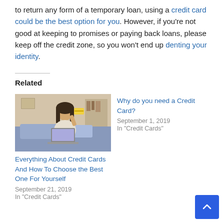to return any form of a temporary loan, using a credit card could be the best option for you. However, if you're not good at keeping to promises or paying back loans, please keep off the credit zone, so you won't end up denting your identity.
Related
[Figure (photo): Woman sitting on couch holding credit card with laptop]
Everything About Credit Cards And How To Choose the Best One For Yourself
September 21, 2019
In "Credit Cards"
Why do you need a Credit Card?
September 1, 2019
In "Credit Cards"